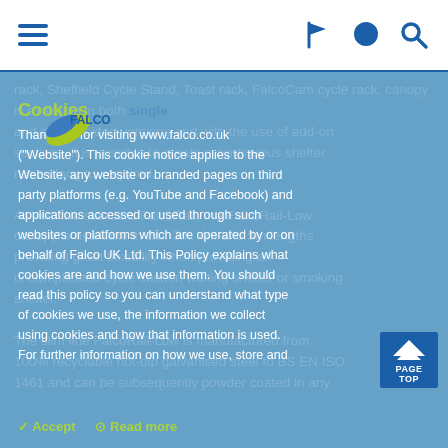Navigation bar with hamburger menu, flag icon, chat icon, search icon
rack, Sheffield Cycle Stand, Toast rack, FalcoCam cycle rack, canopy is available in both single and double sided versions and with the use of add-on sections, it is possible to create a continuous shelter run as long as required. As with the standard FalcoRail, the FalcoRail-Low canopy is available in 2m, 3m, 4m and 5m lengths providing great flexibility when providing an uncomplicated cycle shelter, waiting shelter or smoking shelter. The slim line FalcoRail-Low is manufactured from 100% recyclable hot-dip galvanised steel to BS EN ISO 1461 and can be subsequently powder coated in any
Thank you for visiting www.falco.co.uk ("Website"). This cookie notice applies to the Website, any website or branded pages on third party platforms (e.g. YouTube and Facebook) and applications accessed or used through such websites or platforms which are operated by or on behalf of Falco UK Ltd. This Policy explains what cookies are and how we use them. You should read this policy so you can understand what type of cookies we use, the information we collect using cookies and how that information is used. For further information on how we use, store and